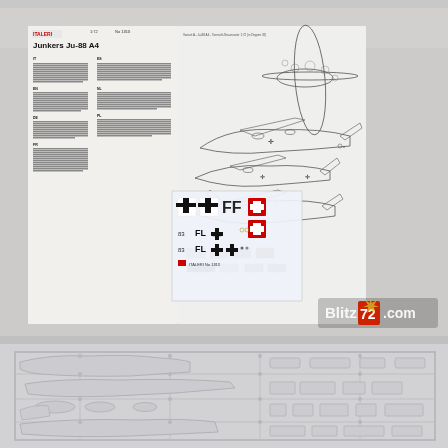[Figure (photo): Top photograph showing Italeri Junkers Ju-88 A4 1:72 scale model kit contents: instruction booklet opened to show text pages and aircraft profile/marking diagrams, decal sheet with German crosses and Swiss markings, and a Blitz72.com watermark logo in corner.]
[Figure (photo): Bottom photograph showing grey plastic model kit sprue/runner with Junkers Ju-88 A4 aircraft parts including fuselage, wings, and other components visible on a grey background.]